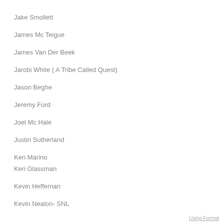Jake Smollett
James Mc Teigue
James Van Der Beek
Jarobi White ( A Tribe Called Quest)
Jason Beghe
Jeremy Ford
Joel Mc Hale
Justin Sutherland
Ken Marino
Keri Glassman
Kevin Heffernan
Kevin Nealon- SNL
Using Format